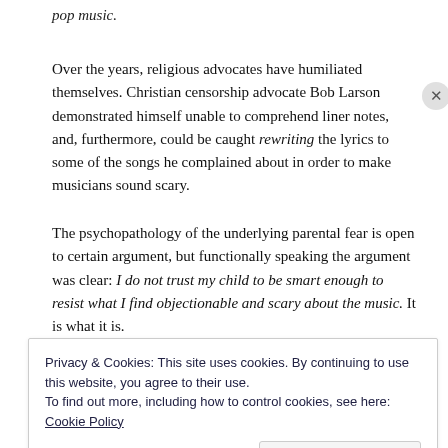pop music.
Over the years, religious advocates have humiliated themselves. Christian censorship advocate Bob Larson demonstrated himself unable to comprehend liner notes, and, furthermore, could be caught rewriting the lyrics to some of the songs he complained about in order to make musicians sound scary.
The psychopathology of the underlying parental fear is open to certain argument, but functionally speaking the argument was clear: I do not trust my child to be smart enough to resist what I find objectionable and scary about the music. It is what it is.
Privacy & Cookies: This site uses cookies. By continuing to use this website, you agree to their use.
To find out more, including how to control cookies, see here: Cookie Policy
[Close and accept]